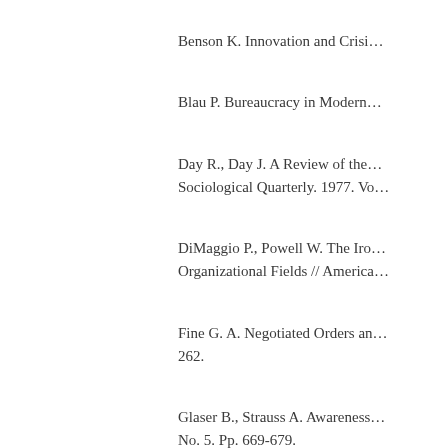Benson K. Innovation and Crisi…
Blau P. Bureaucracy in Modern…
Day R., Day J. A Review of the… Sociological Quarterly. 1977. Vo…
DiMaggio P., Powell W. The Iro… Organizational Fields // America…
Fine G. A. Negotiated Orders an… 262.
Glaser B., Strauss A. Awareness… No. 5. Pp. 669-679.